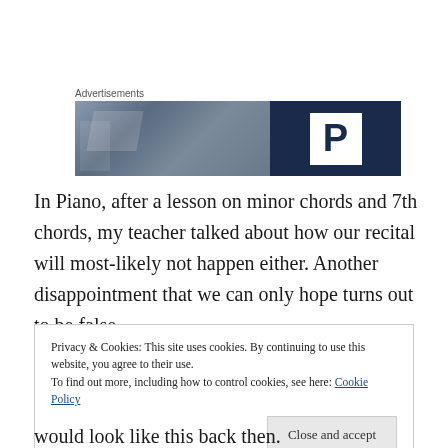Advertisements
[Figure (other): Advertisement banner with dark blue and grey photo sections, featuring a white 'P' letter logo on dark navy background]
In Piano, after a lesson on minor chords and 7th chords, my teacher talked about how our recital will most-likely not happen either. Another disappointment that we can only hope turns out to be false.
Privacy & Cookies: This site uses cookies. By continuing to use this website, you agree to their use.
To find out more, including how to control cookies, see here: Cookie Policy
would look like this back then.